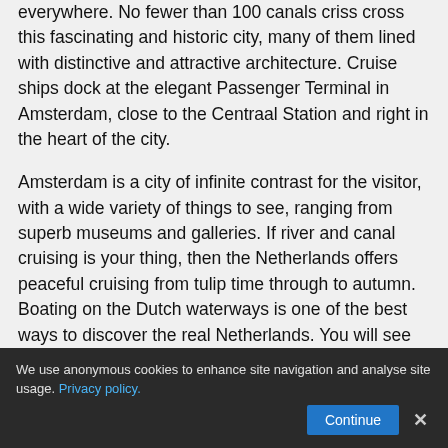everywhere. No fewer than 100 canals criss cross this fascinating and historic city, many of them lined with distinctive and attractive architecture. Cruise ships dock at the elegant Passenger Terminal in Amsterdam, close to the Centraal Station and right in the heart of the city.
Amsterdam is a city of infinite contrast for the visitor, with a wide variety of things to see, ranging from superb museums and galleries. If river and canal cruising is your thing, then the Netherlands offers peaceful cruising from tulip time through to autumn. Boating on the Dutch waterways is one of the best ways to discover the real Netherlands. You will see serene sailing boats, traditional Dutch windmills, waterside cycle routes, neatly kept marinas and nature
We use anonymous cookies to enhance site navigation and analyse site usage. Privacy policy. [Continue] [X]